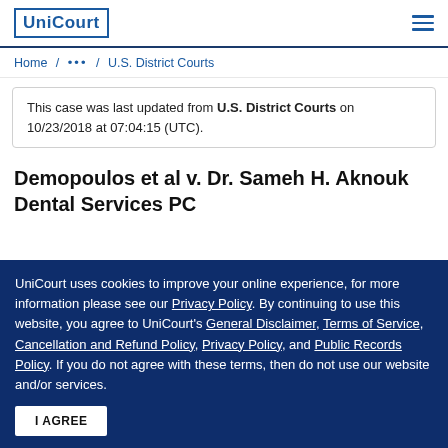UniCourt
Home / ... / U.S. District Courts
This case was last updated from U.S. District Courts on 10/23/2018 at 07:04:15 (UTC).
Demopoulos et al v. Dr. Sameh H. Aknouk Dental Services PC
UniCourt uses cookies to improve your online experience, for more information please see our Privacy Policy. By continuing to use this website, you agree to UniCourt's General Disclaimer, Terms of Service, Cancellation and Refund Policy, Privacy Policy, and Public Records Policy. If you do not agree with these terms, then do not use our website and/or services.
I AGREE